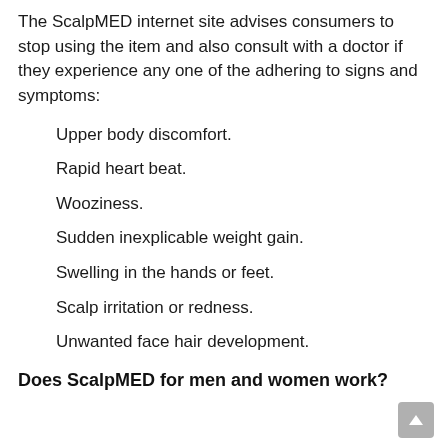The ScalpMED internet site advises consumers to stop using the item and also consult with a doctor if they experience any one of the adhering to signs and symptoms:
Upper body discomfort.
Rapid heart beat.
Wooziness.
Sudden inexplicable weight gain.
Swelling in the hands or feet.
Scalp irritation or redness.
Unwanted face hair development.
Does ScalpMED for men and women work?